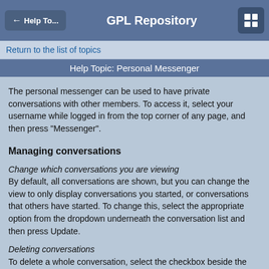← Help To...   GPL Repository
Return to the list of topics
Help Topic: Personal Messenger
The personal messenger can be used to have private conversations with other members. To access it, select your username while logged in from the top corner of any page, and then press "Messenger".
Managing conversations
Change which conversations you are viewing
By default, all conversations are shown, but you can change the view to only display conversations you started, or conversations that others have started. To change this, select the appropriate option from the dropdown underneath the conversation list and then press Update.
Deleting conversations
To delete a whole conversation, select the checkbox beside the conversation, then select "Delete" from the dropdown at the bottom and then press Go.
If you started the conversation, this will remove the conversation from your list, and lock it for everyone else - nobody else will be able to make replies to the conversation, but they will still be able to read it until they also delete it.